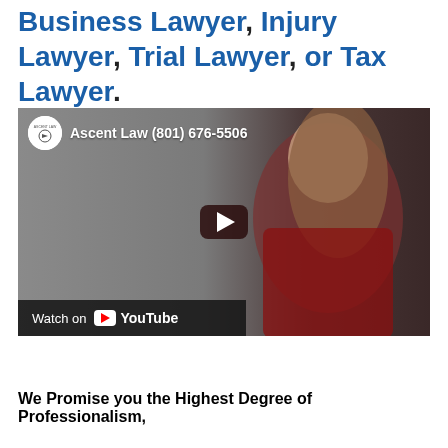Business Lawyer, Injury Lawyer, Trial Lawyer, or Tax Lawyer.
[Figure (screenshot): YouTube video embed thumbnail showing a woman in a red dress with the Ascent Law channel logo, channel name 'Ascent Law (801) 676-5506', a play button in the center, and a 'Watch on YouTube' button at the bottom left.]
We Promise you the Highest Degree of Professionalism,